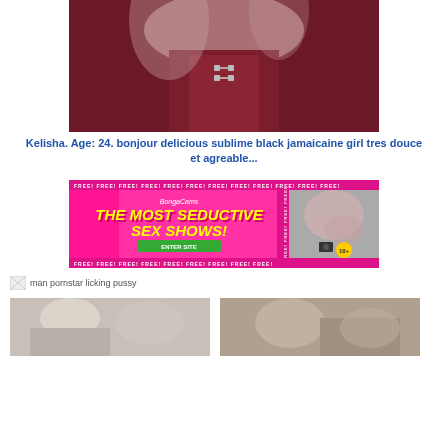[Figure (photo): Close-up photo of a person in a dark red/maroon top with hook-and-eye closures]
Kelisha. Age: 24. bonjour delicious sublime black jamaicaine girl tres douce et agreable...
[Figure (photo): Advertisement banner for BongaCams: THE MOST SEDUCTIVE SEX SHOWS! with FREE repeated text border]
man pornstar licking pussy
[Figure (photo): Two thumbnail images at the bottom of the page]